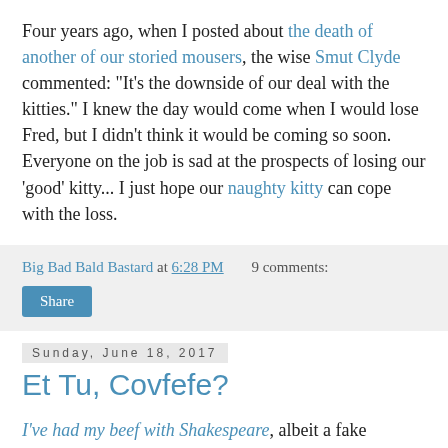Four years ago, when I posted about the death of another of our storied mousers, the wise Smut Clyde commented: "It's the downside of our deal with the kitties." I knew the day would come when I would lose Fred, but I didn't think it would be coming so soon. Everyone on the job is sad at the prospects of losing our 'good' kitty... I just hope our naughty kitty can cope with the loss.
Big Bad Bald Bastard at 6:28 PM   9 comments:
Share
Sunday, June 18, 2017
Et Tu, Covfefe?
I've had my beef with Shakespeare, albeit a fake conflict which depended on a familiarity with the Bard's works and with the history which inspired them he distorted. Despite the